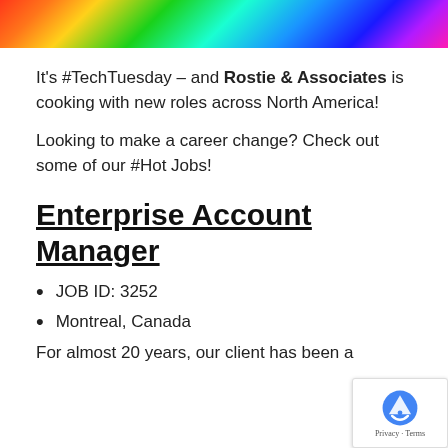[Figure (photo): Colorful light streaks on a dark background, resembling a computer keyboard scene with red, green, blue, and purple neon lights.]
It's #TechTuesday – and Rostie & Associates is cooking with new roles across North America!
Looking to make a career change? Check out some of our #Hot Jobs!
Enterprise Account Manager
JOB ID: 3252
Montreal, Canada
For almost 20 years, our client has been a